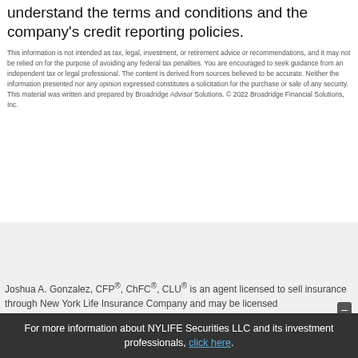understand the terms and conditions and the company's credit reporting policies.
This information is not intended as tax, legal, investment, or retirement advice or recommendations, and it may not be relied on for the purpose of avoiding any federal tax penalties. You are encouraged to seek guidance from an independent tax or legal professional. The content is derived from sources believed to be accurate. Neither the information presented nor any opinion expressed constitutes a solicitation for the purchase or sale of any security. This material was written and prepared by Broadridge Advisor Solutions. © 2022 Broadridge Financial Solutions, Inc.
Joshua A. Gonzalez, CFP®, ChFC®, CLU® is an agent licensed to sell insurance through New York Life Insurance Company and may be licensed
For more information about NYLIFE Securities LLC and its investment professionals, click here.